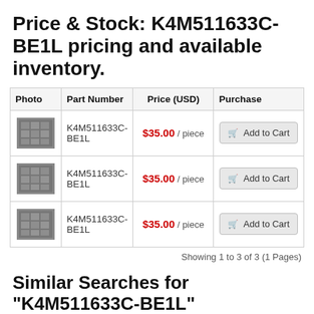Price & Stock: K4M511633C-BE1L pricing and available inventory.
| Photo | Part Number | Price (USD) | Purchase |
| --- | --- | --- | --- |
| [image] | K4M511633C-BE1L | $35.00 / piece | Add to Cart |
| [image] | K4M511633C-BE1L | $35.00 / piece | Add to Cart |
| [image] | K4M511633C-BE1L | $35.00 / piece | Add to Cart |
Showing 1 to 3 of 3 (1 Pages)
Similar Searches for "K4M511633C-BE1L"